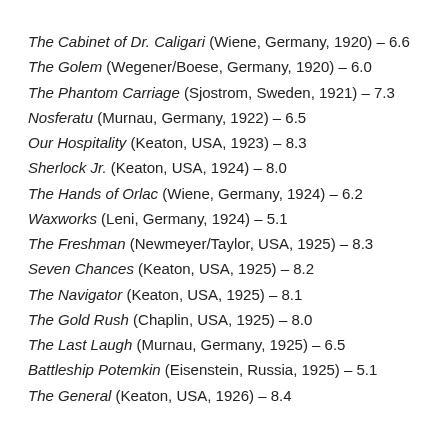The Cabinet of Dr. Caligari (Wiene, Germany, 1920) – 6.6
The Golem (Wegener/Boese, Germany, 1920) – 6.0
The Phantom Carriage (Sjostrom, Sweden, 1921) – 7.3
Nosferatu (Murnau, Germany, 1922) – 6.5
Our Hospitality (Keaton, USA, 1923) – 8.3
Sherlock Jr. (Keaton, USA, 1924) – 8.0
The Hands of Orlac (Wiene, Germany, 1924) – 6.2
Waxworks (Leni, Germany, 1924) – 5.1
The Freshman (Newmeyer/Taylor, USA, 1925) – 8.3
Seven Chances (Keaton, USA, 1925) – 8.2
The Navigator (Keaton, USA, 1925) – 8.1
The Gold Rush (Chaplin, USA, 1925) – 8.0
The Last Laugh (Murnau, Germany, 1925) – 6.5
Battleship Potemkin (Eisenstein, Russia, 1925) – 5.1
The General (Keaton, USA, 1926) – 8.4